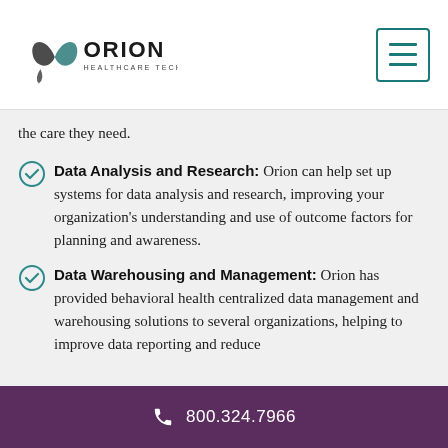Orion Healthcare Technology
the care they need.
Data Analysis and Research: Orion can help set up systems for data analysis and research, improving your organization's understanding and use of outcome factors for planning and awareness.
Data Warehousing and Management: Orion has provided behavioral health centralized data management and warehousing solutions to several organizations, helping to improve data reporting and reduce
800.324.7966